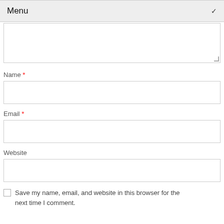Menu
[Figure (screenshot): Empty textarea input field]
Name *
[Figure (screenshot): Empty text input field for Name]
Email *
[Figure (screenshot): Empty text input field for Email]
Website
[Figure (screenshot): Empty text input field for Website]
Save my name, email, and website in this browser for the next time I comment.